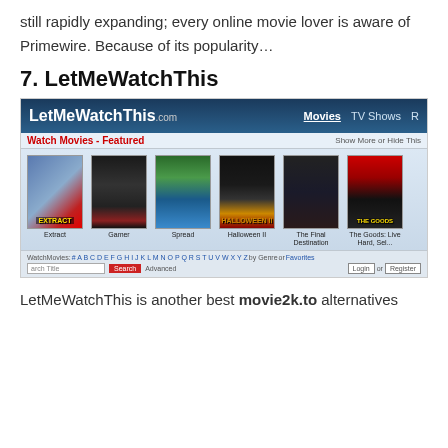still rapidly expanding; every online movie lover is aware of Primewire. Because of its popularity…
7. LetMeWatchThis
[Figure (screenshot): Screenshot of LetMeWatchThis.com website showing navigation bar, featured movies section with posters for Extract, Gamer, Spread, Halloween II, The Final Destination, The Goods: Live Hard, Sell..., alphabet navigation, search bar, and breadcrumb showing Movies > 2009 > August > Watch 'Halloween II']
LetMeWatchThis is another best movie2k.to alternatives